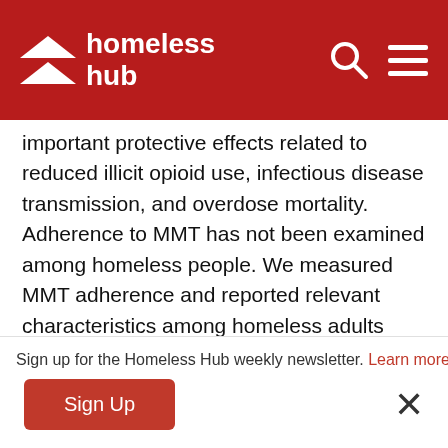homeless hub
important protective effects related to reduced illicit opioid use, infectious disease transmission, and overdose mortality. Adherence to MMT has not been examined among homeless people. We measured MMT adherence and reported relevant characteristics among homeless adults experiencing mental illness in Vancouver, British Columbia, Canada.
Characteristics of adherence to methadone
Sign up for the Homeless Hub weekly newsletter. Learn more
Sign Up